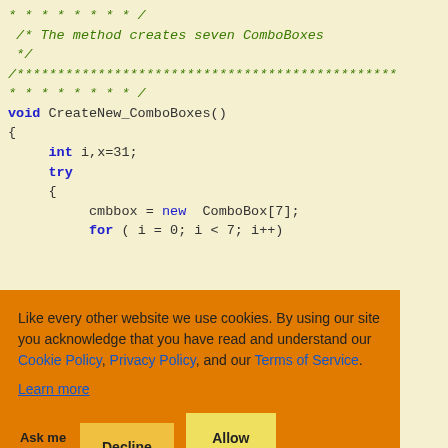[Figure (screenshot): Code snippet showing CreateNew_ComboBoxes() function in C# with green italic comments, blue keywords, on a pale yellow/cream background]
Like every other website we use cookies. By using our site you acknowledge that you have read and understand our Cookie Policy, Privacy Policy, and our Terms of Service.
Learn more
Ask me later  Decline  Allow cookies